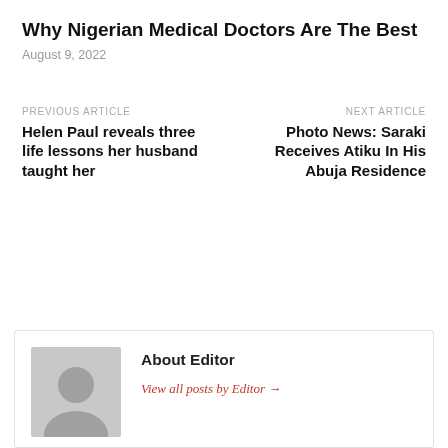Why Nigerian Medical Doctors Are The Best
August 9, 2022
PREVIOUS ARTICLE
Helen Paul reveals three life lessons her husband taught her
NEXT ARTICLE
Photo News: Saraki Receives Atiku In His Abuja Residence
About Editor
View all posts by Editor →